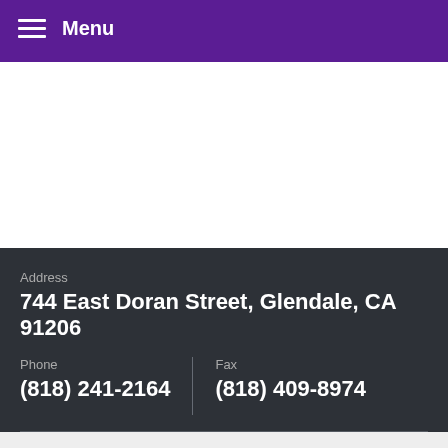Menu
Address
744 East Doran Street, Glendale, CA 91206
Phone
(818) 241-2164
Fax
(818) 409-8974
View Full Site